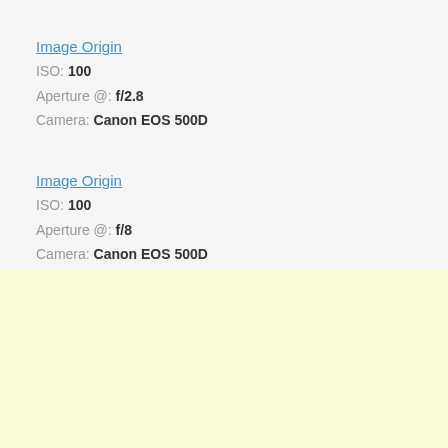Image Origin
ISO: 100
Aperture @: f/2.8
Camera: Canon EOS 500D
Image Origin
ISO: 100
Aperture @: f/8
Camera: Canon EOS 500D